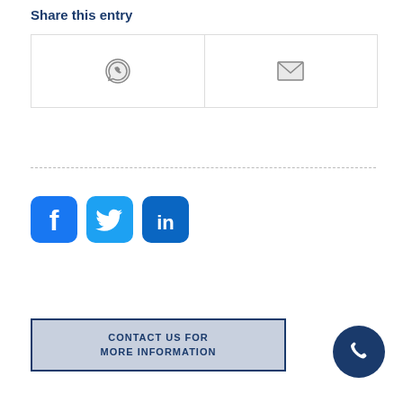Share this entry
[Figure (infographic): Two share buttons side by side: WhatsApp icon (speech bubble with phone) and Email icon (envelope), separated by a vertical border, enclosed in a rectangle]
[Figure (infographic): Three social media icon buttons in a row: Facebook (blue rounded square with f), Twitter (blue rounded square with bird), LinkedIn (blue rounded square with in)]
[Figure (infographic): A contact button with text CONTACT US FOR MORE INFORMATION in dark blue on light blue/grey background with border, and a dark blue circular phone icon button on the right]